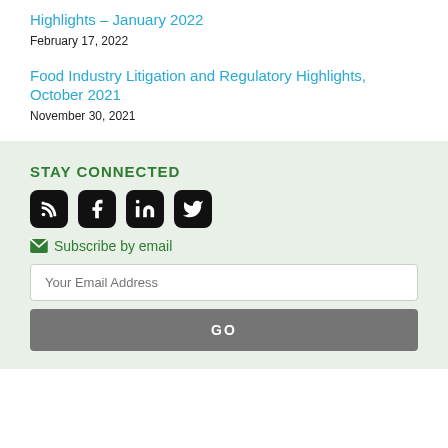Highlights – January 2022
February 17, 2022
Food Industry Litigation and Regulatory Highlights, October 2021
November 30, 2021
STAY CONNECTED
[Figure (infographic): Social media icons: RSS feed, Facebook, LinkedIn, Twitter]
Subscribe by email
Your Email Address
GO